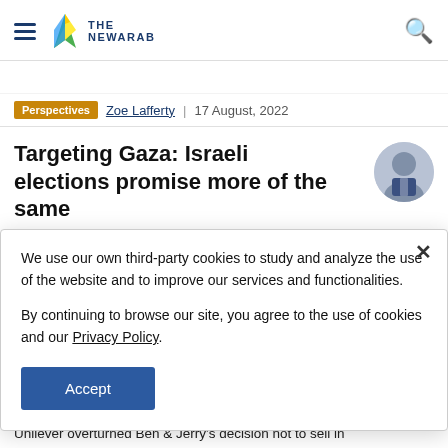The New Arab
Perspectives | Zoe Lafferty | 17 August, 2022
Targeting Gaza: Israeli elections promise more of the same
Israeli politicians have long used military attacks on Gaza
We use our own third-party cookies to study and analyze the use of the website and to improve our services and functionalities.

By continuing to browse our site, you agree to the use of cookies and our Privacy Policy.
Accept
Unilever overturned Ben & Jerry's decision not to sell in